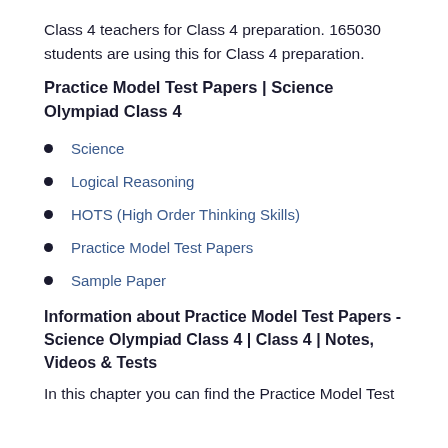Class 4 teachers for Class 4 preparation. 165030 students are using this for Class 4 preparation.
Practice Model Test Papers | Science Olympiad Class 4
Science
Logical Reasoning
HOTS (High Order Thinking Skills)
Practice Model Test Papers
Sample Paper
Information about Practice Model Test Papers - Science Olympiad Class 4 | Class 4 | Notes, Videos & Tests
In this chapter you can find the Practice Model Test